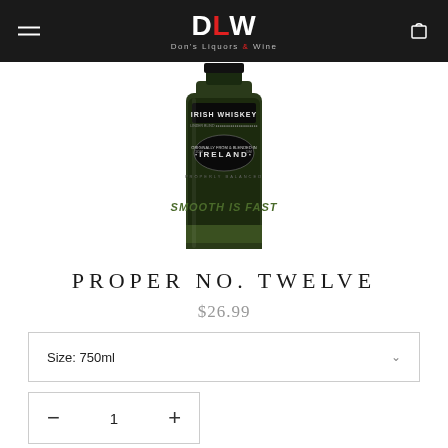DLW Don's Liquors & Wine
[Figure (photo): Partial view of a Proper No. Twelve Irish Whiskey bottle showing the dark label with 'IRISH WHISKEY', 'IRELAND', and 'SMOOTH IS FAST' text on a green glass bottle against a white background.]
PROPER NO. TWELVE
$26.99
Size: 750ml
1